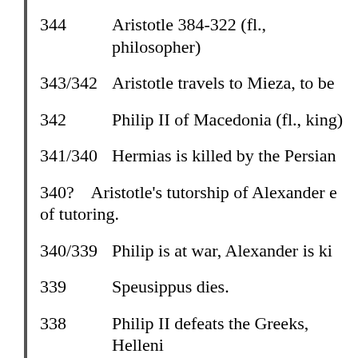344    Aristotle 384-322 (fl., philosopher)
343/342    Aristotle travels to Mieza, to be
342    Philip II of Macedonia (fl., king)
341/340    Hermias is killed by the Persian
340?    Aristotle's tutorship of Alexander e of tutoring.
340/339    Philip is at war, Alexander is ki
339    Speusippus dies.
338    Philip II defeats the Greeks, Helleni
338    Xenocrates is voted to lead the Acad